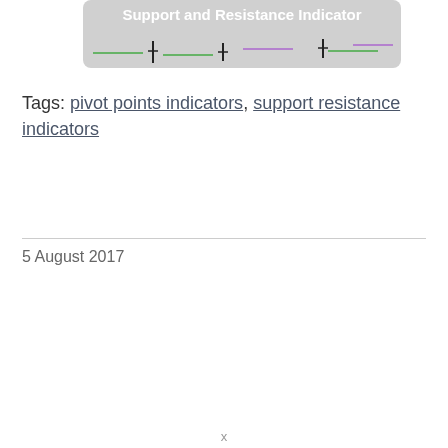[Figure (screenshot): A chart thumbnail with a grey/dark background showing 'Support and Resistance Indicator' title text in white, with colored lines (green, purple) overlaid on a financial chart below.]
Tags: pivot points indicators, support resistance indicators
5 August 2017